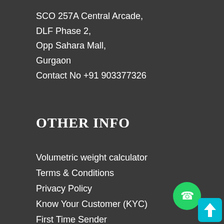SCO 257A Central Arcade,
DLF Phase 2,
Opp Sahara Mall,
Gurgaon
Contact No +91 903377326
OTHER INFO
Volumetric weight calculator
Terms & Conditions
Privacy Policy
Know Your Customer (KYC)
First Time Sender
Customs Duty
[Figure (illustration): WhatsApp contact icon (green circle with phone icon) and scroll-to-top button (teal rounded square with upward arrow)]